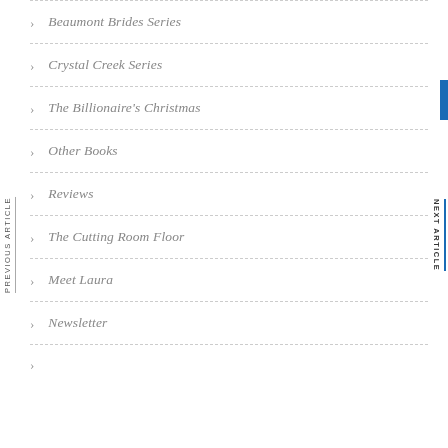Beaumont Brides Series
Crystal Creek Series
The Billionaire's Christmas
Other Books
Reviews
The Cutting Room Floor
Meet Laura
Newsletter